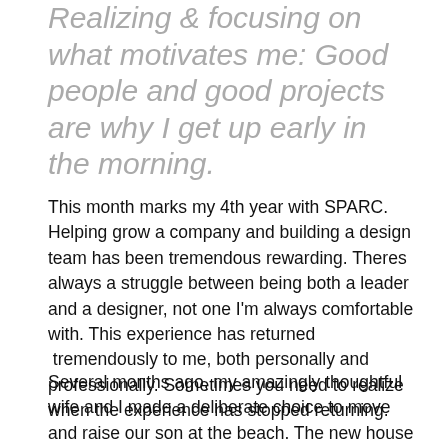Realizing & focusing on what motivates me: Good people and good projects are why I get up early in the morning.
This month marks my 4th year with SPARC. Helping grow a company and building a design team has been tremendous rewarding. Theres always a struggle between being both a leader and a designer, not one I'm always comfortable with. This experience has returned  tremendously to me, both personally and professionally. Sometimes you need to realize when the experience has stopped returning.
Several months ago, my amazingly thoughtful wife and I made a deliberate choice to move and raise our son at the beach. The new house is amazing and gives me a sense of quiet satisfaction every day. I also turn 40 tomorrow – some